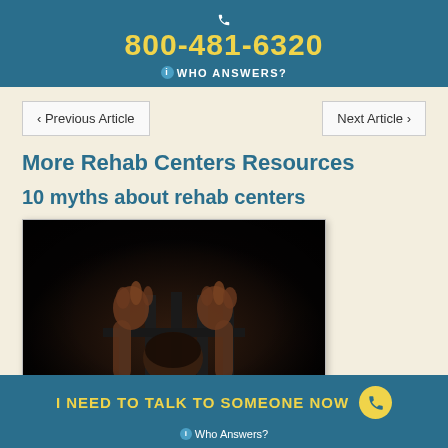800-481-6320
WHO ANSWERS?
‹ Previous Article
Next Article ›
More Rehab Centers Resources
10 myths about rehab centers
[Figure (photo): Dark photo of a person gripping metal bars, viewed from behind, suggesting imprisonment or distress]
I NEED TO TALK TO SOMEONE NOW
Who Answers?